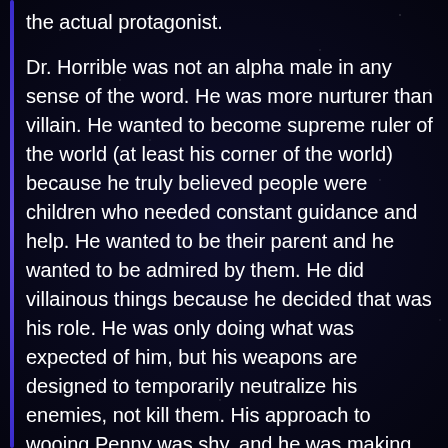the actual protagonist.
Dr. Horrible was not an alpha male in any sense of the word. He was more nurturer than villain. He wanted to become supreme ruler of the world (at least his corner of the world) because he truly believed people were children who needed constant guidance and help. He wanted to be their parent and he wanted to be admired by them. He did villainous things because he decided that was his role. He was only doing what was expected of him, but his weapons are designed to temporarily neutralize his enemies, not kill them. His approach to wooing Penny was shy, and he was making progress, but once Hammer got involved that was the end of that